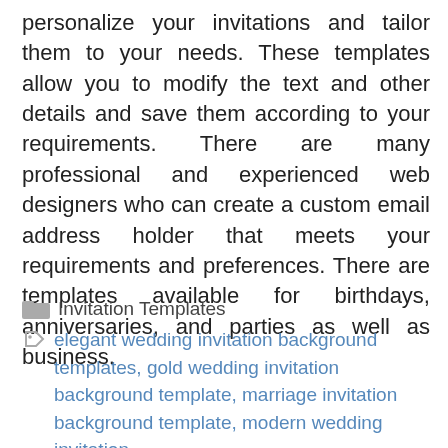personalize your invitations and tailor them to your needs. These templates allow you to modify the text and other details and save them according to your requirements. There are many professional and experienced web designers who can create a custom email address holder that meets your requirements and preferences. There are templates available for birthdays, anniversaries, and parties as well as business.
Invitation Templates
elegant wedding invitation background templates, gold wedding invitation background template, marriage invitation background template, modern wedding invitation